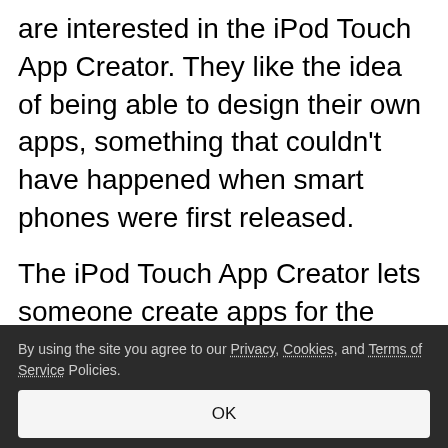are interested in the iPod Touch App Creator. They like the idea of being able to design their own apps, something that couldn't have happened when smart phones were first released.
The iPod Touch App Creator lets someone create apps for the iPod touch and iPhone. You need will know what are the best fashion apps on the mobile market? It means basically
By using the site you agree to our Privacy, Cookies, and Terms of Service Policies.
OK